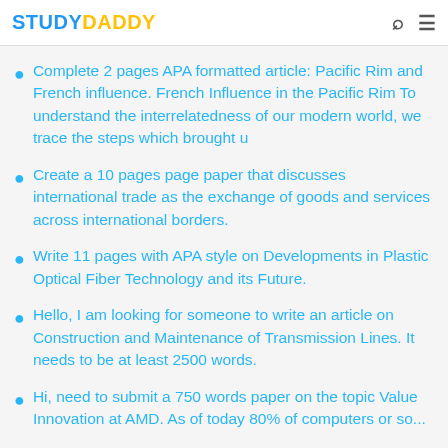STUDYDADDY
Complete 2 pages APA formatted article: Pacific Rim and French influence. French Influence in the Pacific Rim To understand the interrelatedness of our modern world, we trace the steps which brought u
Create a 10 pages page paper that discusses international trade as the exchange of goods and services across international borders.
Write 11 pages with APA style on Developments in Plastic Optical Fiber Technology and its Future.
Hello, I am looking for someone to write an article on Construction and Maintenance of Transmission Lines. It needs to be at least 2500 words.
Hi, need to submit a 750 words paper on the topic Value Innovation at AMD. As of today 80% of computers or so...